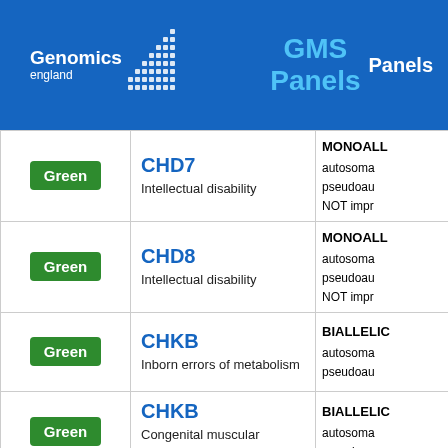Genomics England GMS Panels
| Status | Gene / Panel | Info |
| --- | --- | --- |
| Green | CHD7
Intellectual disability | MONOALLELIC autosomal pseudoautosomal NOT imprinted |
| Green | CHD8
Intellectual disability | MONOALLELIC autosomal pseudoautosomal NOT imprinted |
| Green | CHKB
Inborn errors of metabolism | BIALLELIC autosomal pseudoautosomal |
| Green | CHKB
Congenital muscular dystrophy | BIALLELIC autosomal pseudoautosomal |